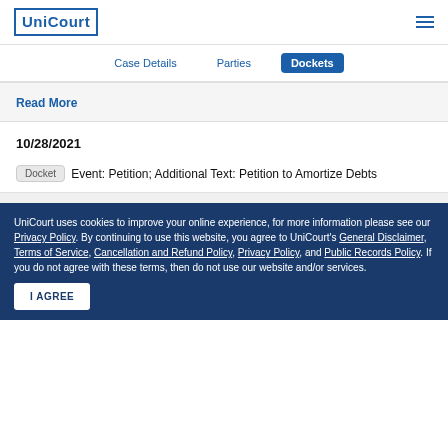UniCourt
Case Details   Parties   Dockets
Read More
10/28/2021
Docket   Event: Petition; Additional Text: Petition to Amortize Debts
UniCourt uses cookies to improve your online experience, for more information please see our Privacy Policy. By continuing to use this website, you agree to UniCourt's General Disclaimer, Terms of Service, Cancellation and Refund Policy, Privacy Policy, and Public Records Policy. If you do not agree with these terms, then do not use our website and/or services.
I AGREE